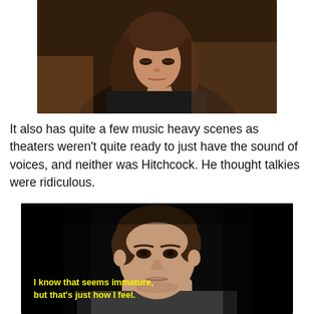[Figure (photo): A young woman with long brown hair, wearing dark clothes, looking downward. The background is dark and busy.]
It also has quite a few music heavy scenes as theaters weren't quite ready to just have the sound of voices, and neither was Hitchcock. He thought talkies were ridiculous.
[Figure (screenshot): A young man with short brown hair in a dark setting, looking forward with a neutral expression. Yellow subtitle text at the bottom reads: I know that seems immature, but that's just how I feel.]